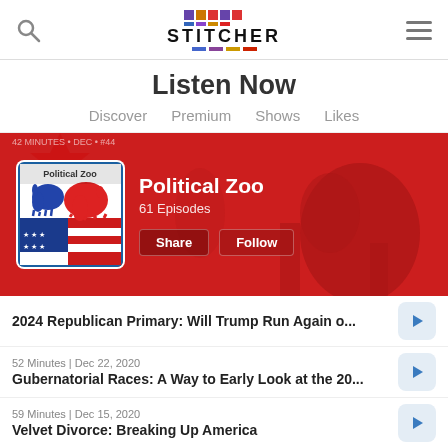[Figure (logo): Stitcher app logo with colorful squares and text]
Listen Now
Discover
Premium
Shows
Likes
[Figure (illustration): Political Zoo podcast banner with red background, podcast artwork showing donkey and elephant on American flag, title, episode count, Share and Follow buttons]
2024 Republican Primary: Will Trump Run Again o...
52 Minutes | Dec 22, 2020
Gubernatorial Races: A Way to Early Look at the 20...
59 Minutes | Dec 15, 2020
Velvet Divorce: Breaking Up America
49 Minutes | Dec 8, 2020
Billionaire Barbie vs The Preacher: Georgia Senate...